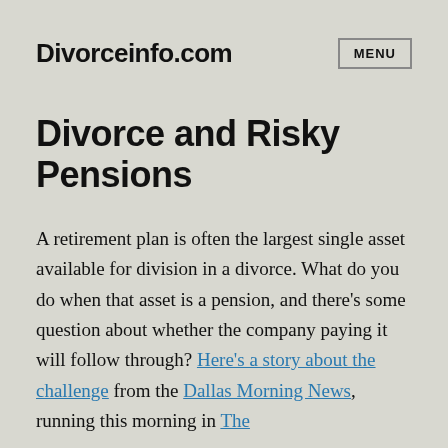Divorceinfo.com
Divorce and Risky Pensions
A retirement plan is often the largest single asset available for division in a divorce. What do you do when that asset is a pension, and there’s some question about whether the company paying it will follow through? Here’s a story about the challenge from the Dallas Morning News, running this morning in The